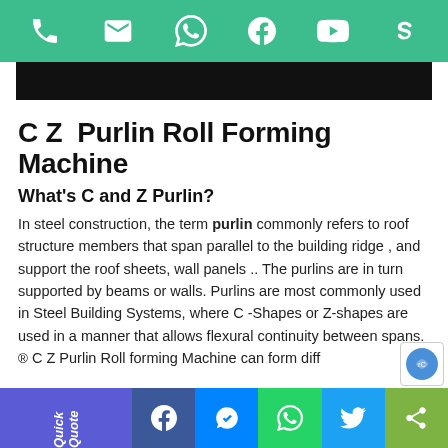[Figure (other): Green social media icon bar with phone, email, WhatsApp, Facebook, YouTube, Skype icons in white on teal/green background]
[Figure (other): Black banner/hero image area]
C Z  Purlin Roll Forming Machine
What's C and Z Purlin?
In steel construction, the term purlin commonly refers to roof structure members that span parallel to the building ridge , and support the roof sheets, wall panels .. The purlins are in turn supported by beams or walls. Purlins are most commonly used in Steel Building Systems, where C -Shapes or Z-shapes are used in a manner that allows flexural continuity between spans. ® C Z Purlin Roll forming Machine can form diff
[Figure (other): Bottom navigation bar with Quick Quote button and social share icons: Facebook, Messenger, WhatsApp, Twitter, Share]